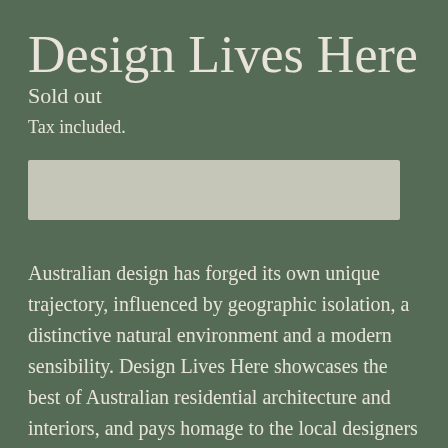Design Lives Here
Sold out
Tax included.
[Figure (other): Greyed-out 'Sold out' button rectangle]
Australian design has forged its own unique trajectory, influenced by geographic isolation, a distinctive natural environment and a modern sensibility. Design Lives Here showcases the best of Australian residential architecture and interiors, and pays homage to the local designers and makers who have crafted bespoke pieces of